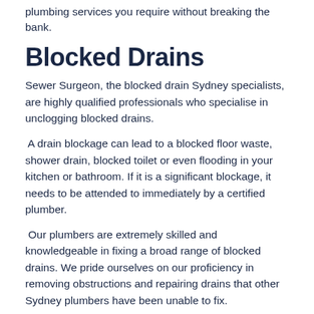plumbing services you require without breaking the bank.
Blocked Drains
Sewer Surgeon, the blocked drain Sydney specialists, are highly qualified professionals who specialise in unclogging blocked drains.
A drain blockage can lead to a blocked floor waste, shower drain, blocked toilet or even flooding in your kitchen or bathroom. If it is a significant blockage, it needs to be attended to immediately by a certified plumber.
Our plumbers are extremely skilled and knowledgeable in fixing a broad range of blocked drains. We pride ourselves on our proficiency in removing obstructions and repairing drains that other Sydney plumbers have been unable to fix.
An emergency for you is a priority for us. We action all